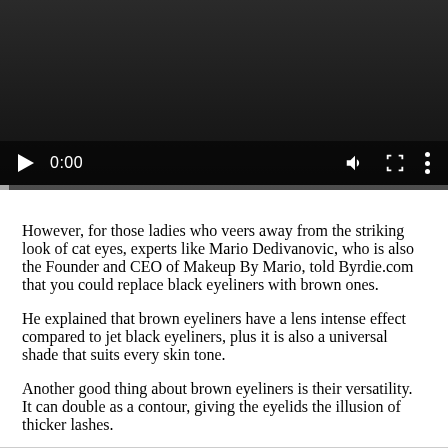[Figure (screenshot): Video player with dark background showing playback controls: play button, time display '0:00', volume icon, fullscreen icon, more options icon, and a progress bar at the bottom.]
However, for those ladies who veers away from the striking look of cat eyes, experts like Mario Dedivanovic, who is also the Founder and CEO of Makeup By Mario, told Byrdie.com that you could replace black eyeliners with brown ones.
He explained that brown eyeliners have a lens intense effect compared to jet black eyeliners, plus it is also a universal shade that suits every skin tone.
Another good thing about brown eyeliners is their versatility. It can double as a contour, giving the eyelids the illusion of thicker lashes.